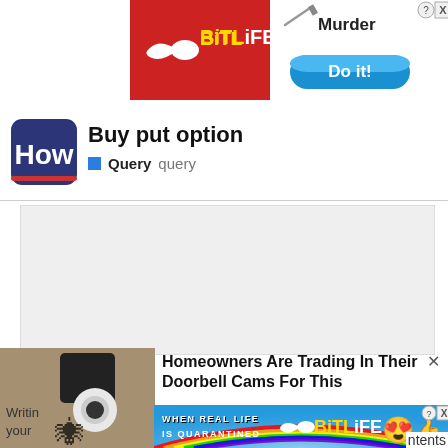[Figure (screenshot): BitLife mobile game advertisement banner with red background, BitLife logo with sperm icon, and 'Murder / Do it!' call to action button on blue background]
[Figure (logo): How.com logo - dark blue rounded rectangle with white 'How' text and red underline]
Buy put option
Query  query
[Figure (screenshot): Grey content area placeholder]
[Figure (photo): Outdoor security camera mounted on a wall]
Homeowners Are Trading In Their Doorbell Cams For This
Camerca | Sponsored
Writing
your
[Figure (screenshot): BitLife advertisement banner with rainbow/colorful background, 'WHEN REAL LIFE IS QUARANTINED' text, BitLife logo, and emoji characters]